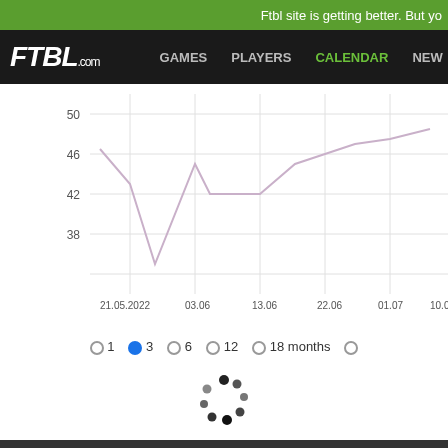Ftbl site is getting better. But yo
[Figure (screenshot): FTBL.com website navigation bar with logo and menu items: GAMES, PLAYERS, CALENDAR (active), NEW]
[Figure (continuous-plot): Line chart showing values between approximately 38-50 over date range 21.05.2022 to 19.0x, with a dip around 37-38 in early period and general upward trend toward end]
○1 ●3 ○6 ○12 ○18 months ○
[Figure (other): Loading spinner with dark dots arranged in a circle pattern]